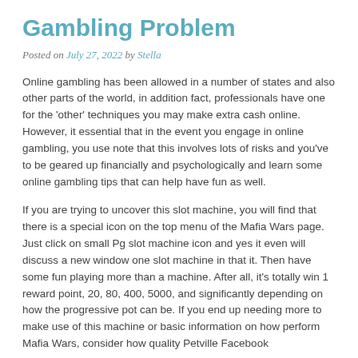Gambling Problem
Posted on July 27, 2022 by Stella
Online gambling has been allowed in a number of states and also other parts of the world, in addition fact, professionals have one for the 'other' techniques you may make extra cash online. However, it essential that in the event you engage in online gambling, you use note that this involves lots of risks and you've to be geared up financially and psychologically and learn some online gambling tips that can help have fun as well.
If you are trying to uncover this slot machine, you will find that there is a special icon on the top menu of the Mafia Wars page. Just click on small Pg slot machine icon and yes it even will discuss a new window one slot machine in that it. Then have some fun playing more than a machine. After all, it's totally win 1 reward point, 20, 80, 400, 5000, and significantly depending on how the progressive pot can be. If you end up needing more to make use of this machine or basic information on how perform Mafia Wars, consider how quality Petville Facebook